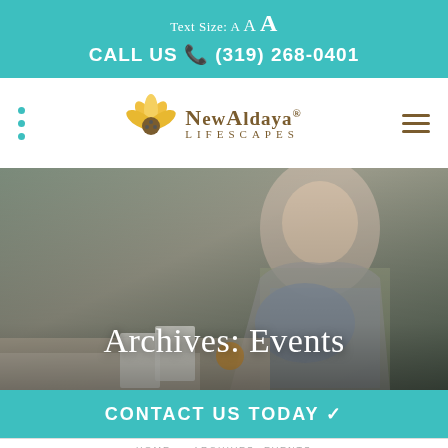Text Size: A A A
CALL US (319) 268-0401
[Figure (logo): NewAldaya Lifescapes logo with flower icon]
Archives: Events
CONTACT US TODAY ✓
HOME  ARCHIVES: EVENTS